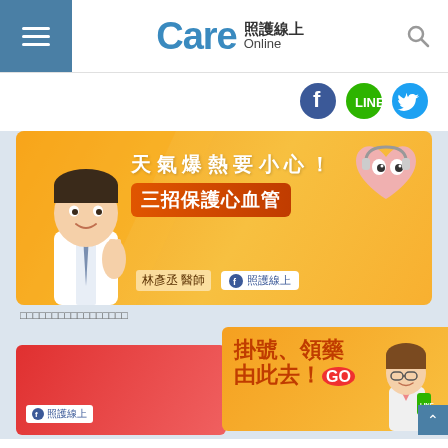Care 照護線上 Online
[Figure (logo): Care Online (照護線上) website logo with blue Care text and Chinese/English subtitle]
[Figure (infographic): Social media icons: Facebook (blue circle), Line (green circle), Twitter (blue circle)]
[Figure (illustration): Banner: 天氣爆熱要小心！三招保護心血管 - orange background with cartoon doctor making peace sign, animated heart character, doctor name 林彥丞 醫師, Facebook 照護線上 badge]
□□□□□□□□□□□□□□□□□
[Figure (illustration): Banner: 掛號、領藥由此去！GO - orange background with cartoon nurse character holding phone, Facebook 照護線上 badge]
[Figure (illustration): Partial red banner visible at bottom left with 照護線上 Facebook badge]